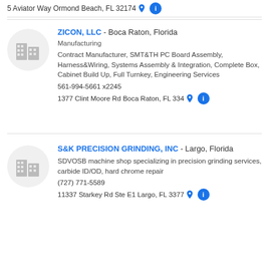5 Aviator Way Ormond Beach, FL 32174
ZICON, LLC - Boca Raton, Florida
Manufacturing
Contract Manufacturer, SMT&TH PC Board Assembly, Harness&Wiring, Systems Assembly & Integration, Complete Box, Cabinet Build Up, Full Turnkey, Engineering Services
561-994-5661 x2245
1377 Clint Moore Rd Boca Raton, FL 334...
S&K PRECISION GRINDING, INC - Largo, Florida
SDVOSB machine shop specializing in precision grinding services, carbide ID/OD, hard chrome repair
(727) 771-5589
11337 Starkey Rd Ste E1 Largo, FL 3377...